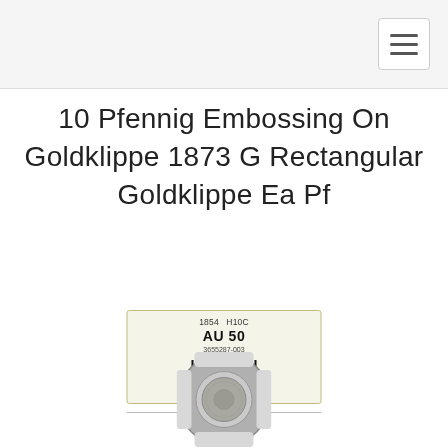10 Pfennig Embossing On Goldklippe 1873 G Rectangular Goldklippe Ea Pf
[Figure (photo): NGC grading label showing '1854 HIUC', grade 'AU 50', cert number '3655287-003', barcode, and NGC green logo strip]
[Figure (photo): NGC coin holder containing a coin, gray plastic slab with cross-shaped cutouts on a circular holder]